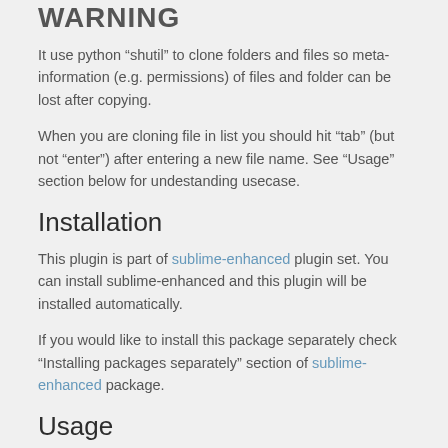WARNING
It use python “shutil” to clone folders and files so meta-information (e.g. permissions) of files and folder can be lost after copying.
When you are cloning file in list you should hit “tab” (but not “enter”) after entering a new file name. See “Usage” section below for undestanding usecase.
Installation
This plugin is part of sublime-enhanced plugin set. You can install sublime-enhanced and this plugin will be installed automatically.
If you would like to install this package separately check “Installing packages separately” section of sublime-enhanced package.
Usage